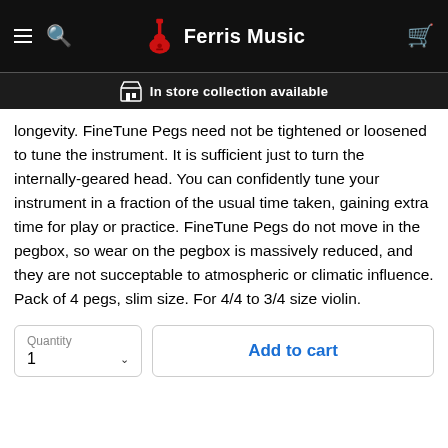Ferris Music — In store collection available
longevity. FineTune Pegs need not be tightened or loosened to tune the instrument. It is sufficient just to turn the internally-geared head. You can confidently tune your instrument in a fraction of the usual time taken, gaining extra time for play or practice. FineTune Pegs do not move in the pegbox, so wear on the pegbox is massively reduced, and they are not succeptable to atmospheric or climatic influence. Pack of 4 pegs, slim size. For 4/4 to 3/4 size violin.